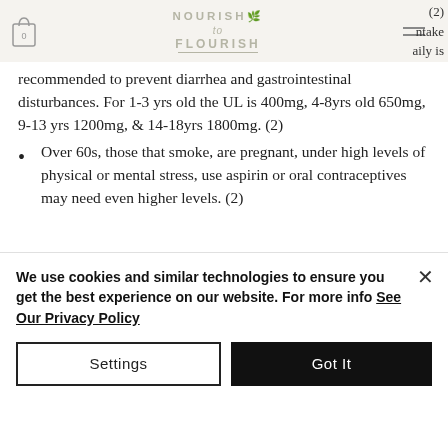Nourish to Flourish — navigation bar with logo, bag icon, and hamburger menu
(2) ntake aily is recommended to prevent diarrhea and gastrointestinal disturbances. For 1-3 yrs old the UL is 400mg, 4-8yrs old 650mg, 9-13 yrs 1200mg, & 14-18yrs 1800mg. (2)
Over 60s, those that smoke, are pregnant, under high levels of physical or mental stress, use aspirin or oral contraceptives may need even higher levels. (2)
We use cookies and similar technologies to ensure you get the best experience on our website. For more info See Our Privacy Policy
Settings | Got It